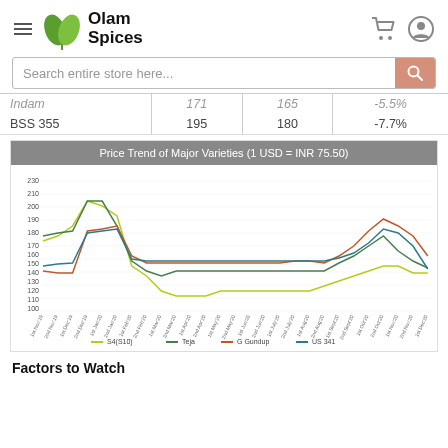Olam Spices
| Variety | Col1 | Col2 | Col3 |
| --- | --- | --- | --- |
| Indam | 171 | 165 | -5.5% |
| BSS 355 | 195 | 180 | -7.7% |
[Figure (line-chart): Price Trend of Major Varieties (1 USD = INR 75.50)]
Factors to Watch